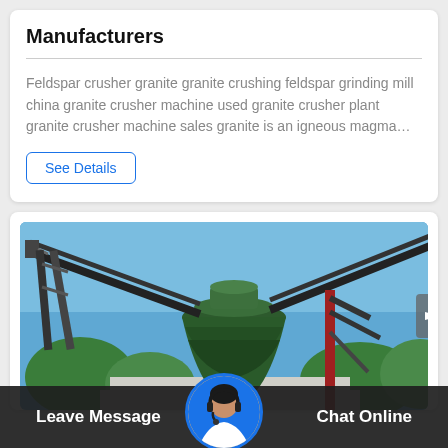Manufacturers
Feldspar crusher granite granite crushing feldspar grinding mill china granite crusher machine used granite crusher plant granite crusher machine sales granite is an igneous magma…
See Details
[Figure (photo): Industrial crusher/cone crusher machine outdoors with conveyor belts against a blue sky and green trees]
Leave Message
Chat Online